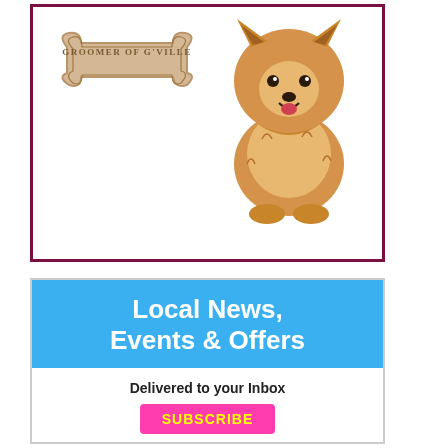[Figure (logo): Groomer of G'ville advertisement with bone-shaped logo and a fluffy Pomeranian dog sitting inside a dark red bordered box]
[Figure (infographic): Blue and white advertisement banner: 'Local News, Events & Offers' in white bold text on blue background, 'Delivered to your Inbox' in black on white, with a hot-pink SUBSCRIBE button with yellow text]